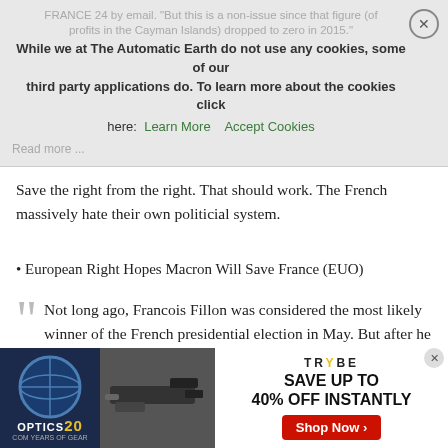FRANCE 24 by email. "But this is a non-issue since that figure (of profits in the Cayman Islands) dropped to zero in 2015."
While we at The Automatic Earth do not use any cookies, some of our third party applications do. To learn more about the cookies click here: Learn More  Accept Cookies
Read more ...
Save the right from the right. That should work. The French massively hate their own politicial system.
European Right Hopes Macron Will Save France (EUO)
Not long ago, Francois Fillon was considered the most likely winner of the French presidential election in May. But after he was charged for embezzlement over suspicions of fake parliamentary jobs for his wife and children, even his European allies seem to have lost hope. Meanwhile, the fear of seeing far-right candidate Marine Le Pen taking power is growing. “People are worried, they are wondering what is going on in France,” Joseph Daul, president of the European
[Figure (screenshot): Advertisement banner for Optics20/Trybe: shows rifle image, 'SAVE UP TO 40% OFF INSTANTLY' text, and a red 'Shop Now' button]